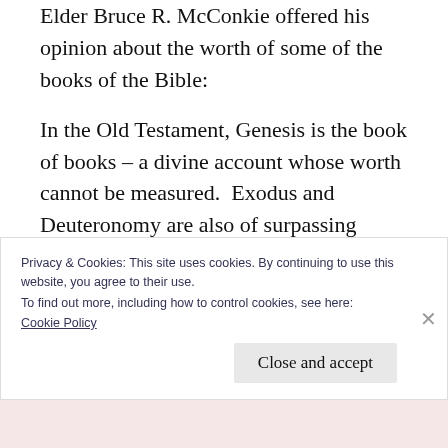Elder Bruce R. McConkie offered his opinion about the worth of some of the books of the Bible:
In the Old Testament, Genesis is the book of books – a divine account whose worth cannot be measured.  Exodus and Deuteronomy are also of surpassing worth.  Numbers, Joshua, Judges, the Samuels, the Kings, and the Chronicles are all essential history.  Leviticus has no especial application to us.  Ruth and
Privacy & Cookies: This site uses cookies. By continuing to use this website, you agree to their use.
To find out more, including how to control cookies, see here:
Cookie Policy
Close and accept